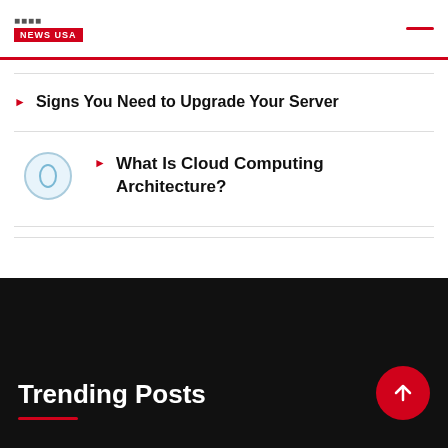News USA
Signs You Need to Upgrade Your Server
What Is Cloud Computing Architecture?
Trending Posts